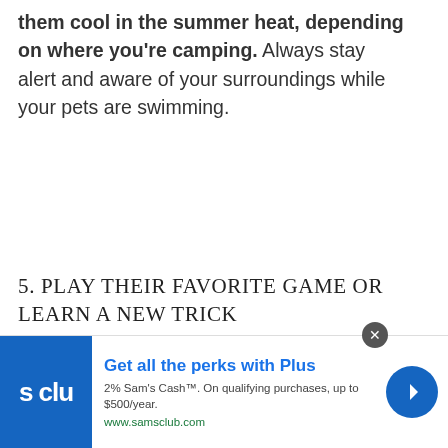them cool in the summer heat, depending on where you're camping. Always stay alert and aware of your surroundings while your pets are swimming.
5. PLAY THEIR FAVORITE GAME OR LEARN A NEW TRICK
[Figure (photo): A dark-colored dog near a body of water surrounded by green foliage and rocks]
Get all the perks with Plus
2% Sam's Cash™. On qualifying purchases, up to $500/year.
www.samsclub.com